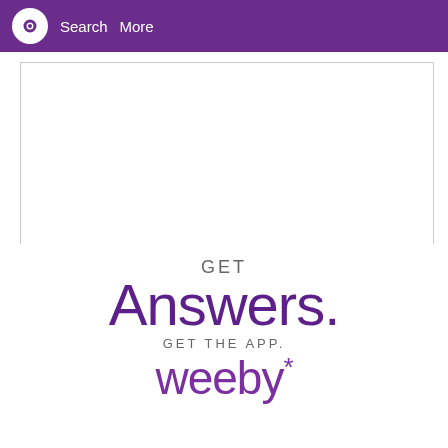Search  More
[Figure (screenshot): Text input/comment box area with resize handle at bottom right]
Add Comment  Add Answer
Log in or sign up first.
[Figure (infographic): Promotional banner: GET Answers. GET THE APP. weeby*]